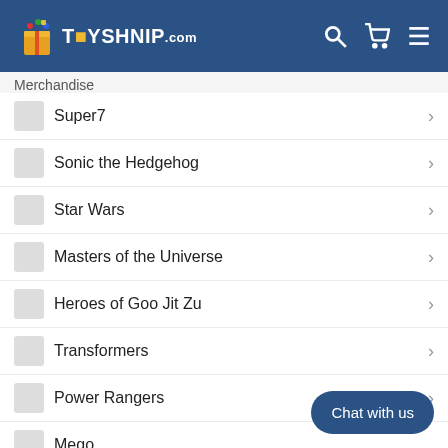TOYSHNIP.com
Merchandise
Super7
Sonic the Hedgehog
Star Wars
Masters of the Universe
Heroes of Goo Jit Zu
Transformers
Power Rangers
Mego
FiGPiN Checklist
Chat with us